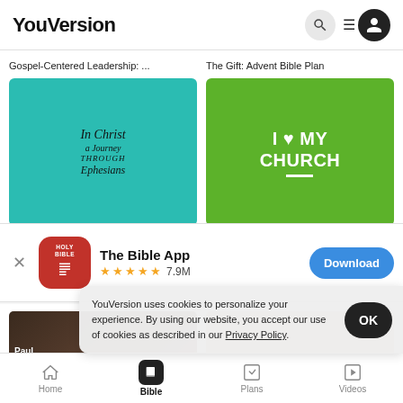YouVersion
Gospel-Centered Leadership: ...
The Gift: Advent Bible Plan
[Figure (illustration): Teal background Bible plan card: 'In Christ a Journey Through Ephesians' in handwritten script style]
[Figure (illustration): Green background Bible plan card: 'I ♥ MY CHURCH' in bold white text]
[Figure (screenshot): App download banner: The Bible App icon (red/Holy Bible), 5 gold stars, 7.9M rating, Download button]
YouVersion uses cookies to personalize your experience. By using our website, you accept our use of cookies as described in our Privacy Policy.
Paul's Prison Epistles: Paul on...
EPHESIANS
Home   Bible   Plans   Videos